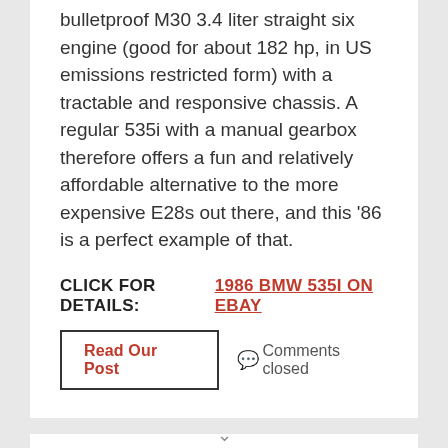bulletproof M30 3.4 liter straight six engine (good for about 182 hp, in US emissions restricted form) with a tractable and responsive chassis. A regular 535i with a manual gearbox therefore offers a fun and relatively affordable alternative to the more expensive E28s out there, and this '86 is a perfect example of that.
CLICK FOR DETAILS: 1986 BMW 535I ON EBAY
Read Our Post
Comments closed